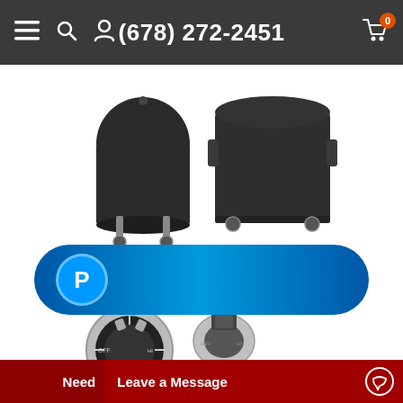(678) 272-2451
[Figure (photo): Two black grill covers: a smaller round cover on the left and a larger rectangular cover on the right, both placed on white background.]
Need a Cover? Click Here!
[Figure (photo): Multiple grill control knobs in chrome and black, various styles shown together.]
[Figure (logo): PayPal payment button banner with PayPal logo P on a blue gradient rounded rectangle background.]
Need   Leave a Message